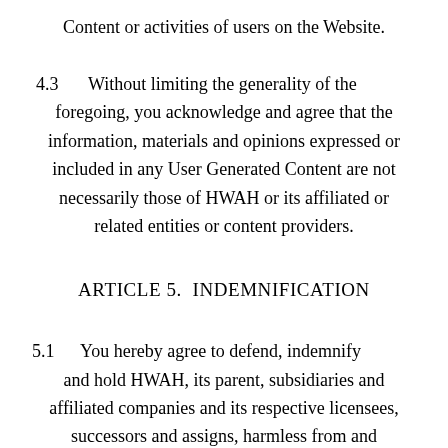Content or activities of users on the Website.
4.3	Without limiting the generality of the foregoing, you acknowledge and agree that the information, materials and opinions expressed or included in any User Generated Content are not necessarily those of HWAH or its affiliated or related entities or content providers.
ARTICLE 5.  INDEMNIFICATION
5.1	You hereby agree to defend, indemnify and hold HWAH, its parent, subsidiaries and affiliated companies and its respective licensees, successors and assigns, harmless from and